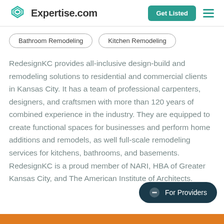Expertise.com | Get Listed
Bathroom Remodeling
Kitchen Remodeling
RedesignKC provides all-inclusive design-build and remodeling solutions to residential and commercial clients in Kansas City. It has a team of professional carpenters, designers, and craftsmen with more than 120 years of combined experience in the industry. They are equipped to create functional spaces for businesses and perform home additions and remodels, as well full-scale remodeling services for kitchens, bathrooms, and basements. RedesignKC is a proud member of NARI, HBA of Greater Kansas City, and The American Institute of Architects.